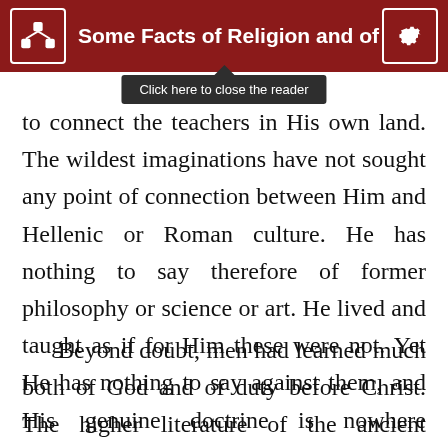Some Facts of Religion and of Li
[Figure (screenshot): Tooltip popup saying 'Click here to close the reader' with dark background]
to connect the teachers in His own land. The wildest imaginations have not sought any point of connection between Him and Hellenic or Roman culture. He has nothing to say therefore of former philosophy or science or art. He lived and taught as if for Him these were not. Yet He has nothing to say against them, and His genuine doctrine is nowhere inconsistent with the fullest admission of their true claims.
Beyond doubt, men had learned much both of God and of duty before Christ. The higher literature of the ancient nations contain many glimpses of the Di...